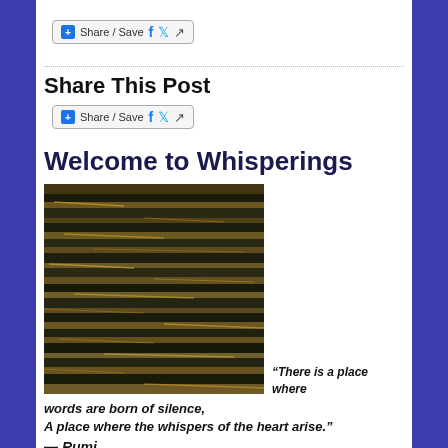[Figure (screenshot): Share/Save social button widget with Facebook, Twitter and generic share icons, top of page]
Share This Post
[Figure (screenshot): Share/Save social button widget with Facebook, Twitter and generic share icons, below section header]
Welcome to Whisperings
[Figure (photo): Close-up photograph of water surface with golden light reflections on dark rippling waves]
“There is a place where words are born of silence,
A place where the whispers of the heart arise.”
— Rumi